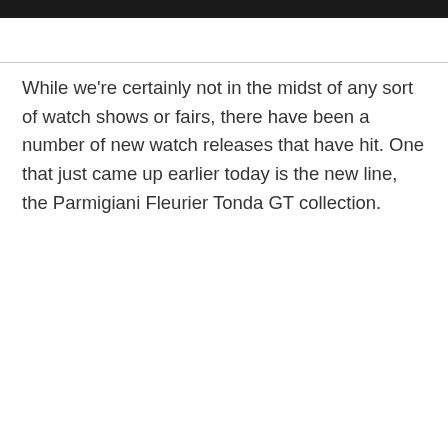While we're certainly not in the midst of any sort of watch shows or fairs, there have been a number of new watch releases that have hit. One that just came up earlier today is the new line, the Parmigiani Fleurier Tonda GT collection.